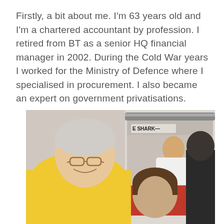Firstly, a bit about me.  I'm 63 years old and I'm a chartered accountant by profession.  I retired from BT as a senior HQ financial manager in 2002.  During the Cold War years I worked for the Ministry of Defence where I specialised in procurement.  I also became an expert on government privatisations.
[Figure (photo): A photograph of an older man with grey hair wearing glasses and a yellow polo shirt, smiling at the camera. Beside him is a woman with dark brown hair. Behind them is a display board/poster stand with what appears to be a Rotary Club poster. The setting appears to be an indoor event or meeting.]